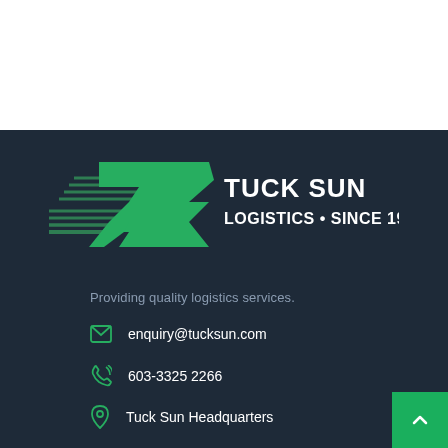[Figure (logo): Tuck Sun Logistics logo — stylized green S-shape with speed lines on dark navy background, with white text 'TUCK SUN LOGISTICS • SINCE 1954']
Providing quality logistics services.
enquiry@tucksun.com
603-3325 2266
Tuck Sun Headquarters